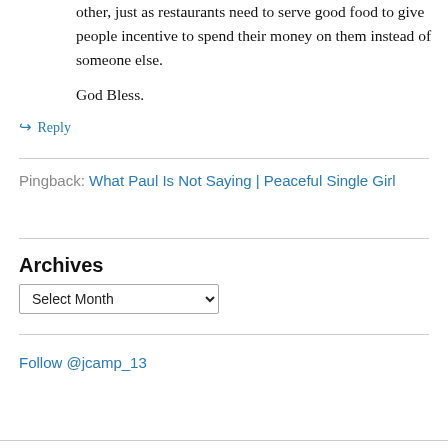other, just as restaurants need to serve good food to give people incentive to spend their money on them instead of someone else.
God Bless.
↳ Reply
Pingback: What Paul Is Not Saying | Peaceful Single Girl
Archives
Select Month
Follow @jcamp_13